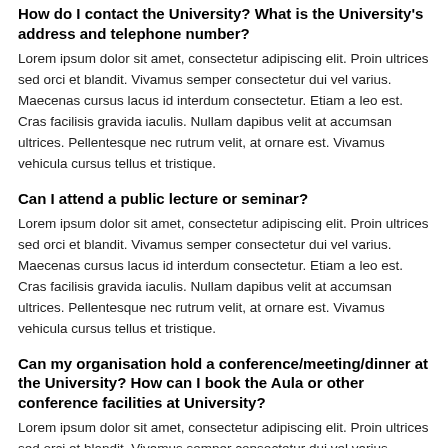How do I contact the University? What is the University's address and telephone number?
Lorem ipsum dolor sit amet, consectetur adipiscing elit. Proin ultrices sed orci et blandit. Vivamus semper consectetur dui vel varius. Maecenas cursus lacus id interdum consectetur. Etiam a leo est. Cras facilisis gravida iaculis. Nullam dapibus velit at accumsan ultrices. Pellentesque nec rutrum velit, at ornare est. Vivamus vehicula cursus tellus et tristique.
Can I attend a public lecture or seminar?
Lorem ipsum dolor sit amet, consectetur adipiscing elit. Proin ultrices sed orci et blandit. Vivamus semper consectetur dui vel varius. Maecenas cursus lacus id interdum consectetur. Etiam a leo est. Cras facilisis gravida iaculis. Nullam dapibus velit at accumsan ultrices. Pellentesque nec rutrum velit, at ornare est. Vivamus vehicula cursus tellus et tristique.
Can my organisation hold a conference/meeting/dinner at the University? How can I book the Aula or other conference facilities at University?
Lorem ipsum dolor sit amet, consectetur adipiscing elit. Proin ultrices sed orci et blandit. Vivamus semper consectetur dui vel varius.